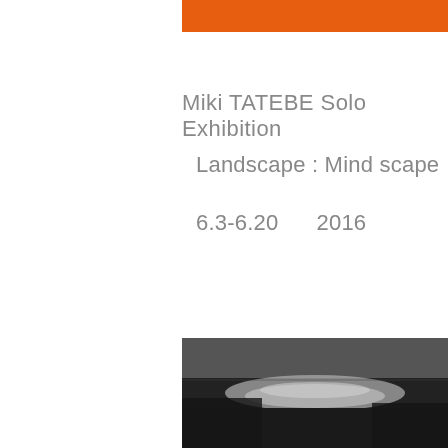[Figure (other): Orange horizontal bar at top of page]
Miki TATEBE Solo Exhibition
Landscape : Mind scape
6.3-6.20      2016
[Figure (photo): Black and white photograph of a landscape with a curved road or path, dark tones, partially visible at bottom of page]